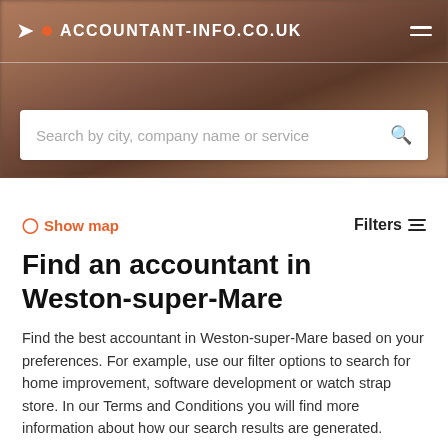ACCOUNTANT-INFO.CO.UK
[Figure (screenshot): Search bar with placeholder text: Search by city, company name or service]
Show map
Filters
Find an accountant in Weston-super-Mare
Find the best accountant in Weston-super-Mare based on your preferences. For example, use our filter options to search for home improvement, software development or watch strap store. In our Terms and Conditions you will find more information about how our search results are generated.